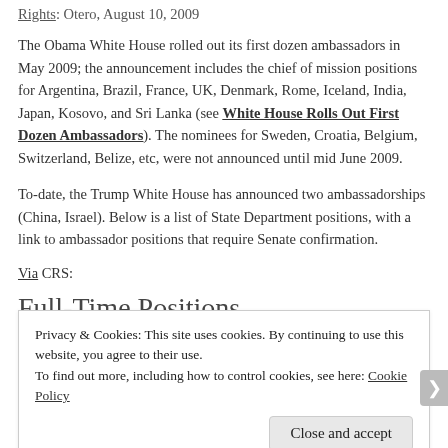Rights: Otero, August 10, 2009
The Obama White House rolled out its first dozen ambassadors in May 2009; the announcement includes the chief of mission positions for Argentina, Brazil, France, UK, Denmark, Rome, Iceland, India, Japan, Kosovo, and Sri Lanka (see White House Rolls Out First Dozen Ambassadors). The nominees for Sweden, Croatia, Belgium, Switzerland, Belize, etc, were not announced until mid June 2009.
To-date, the Trump White House has announced two ambassadorships (China, Israel). Below is a list of State Department positions, with a link to ambassador positions that require Senate confirmation.
Via CRS:
Full-Time Positions
Privacy & Cookies: This site uses cookies. By continuing to use this website, you agree to their use. To find out more, including how to control cookies, see here: Cookie Policy
Close and accept